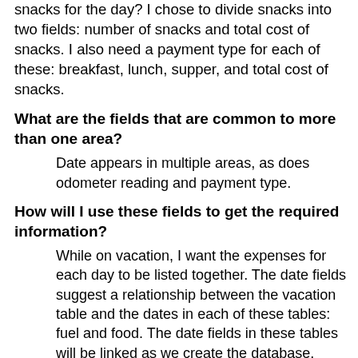snacks for the day? I chose to divide snacks into two fields: number of snacks and total cost of snacks. I also need a payment type for each of these: breakfast, lunch, supper, and total cost of snacks.
What are the fields that are common to more than one area?
Date appears in multiple areas, as does odometer reading and payment type.
How will I use these fields to get the required information?
While on vacation, I want the expenses for each day to be listed together. The date fields suggest a relationship between the vacation table and the dates in each of these tables: fuel and food. The date fields in these tables will be linked as we create the database.
The type of payment includes two bank